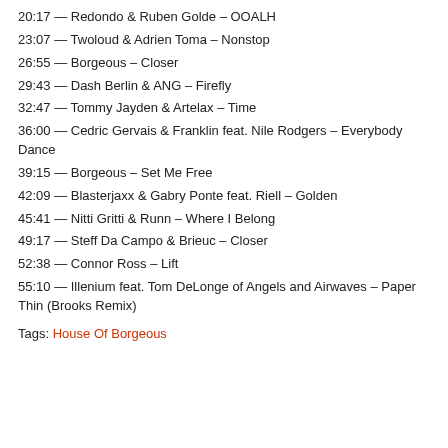20:17 — Redondo & Ruben Golde – OOALH
23:07 — Twoloud & Adrien Toma – Nonstop
26:55 — Borgeous – Closer
29:43 — Dash Berlin & ANG – Firefly
32:47 — Tommy Jayden & Artelax – Time
36:00 — Cedric Gervais & Franklin feat. Nile Rodgers – Everybody Dance
39:15 — Borgeous – Set Me Free
42:09 — Blasterjaxx & Gabry Ponte feat. Riell – Golden
45:41 — Nitti Gritti & Runn – Where I Belong
49:17 — Steff Da Campo & Brieuc – Closer
52:38 — Connor Ross – Lift
55:10 — Illenium feat. Tom DeLonge of Angels and Airwaves – Paper Thin (Brooks Remix)
Tags: House Of Borgeous